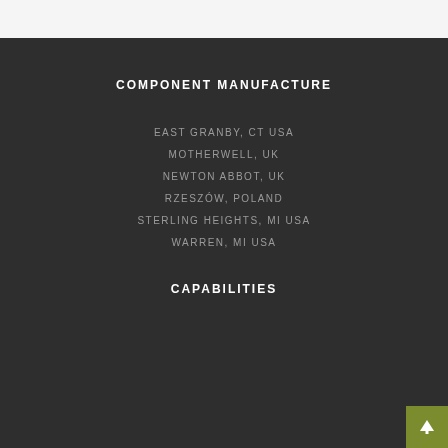COMPONENT MANUFACTURE
EAST GRANBY, CT USA
MOTHERWELL, UK
NEWTON ABBOT, UK
RZESZÓW, POLAND
STERLING HEIGHTS, MI USA
WARREN, MI USA
CAPABILITIES